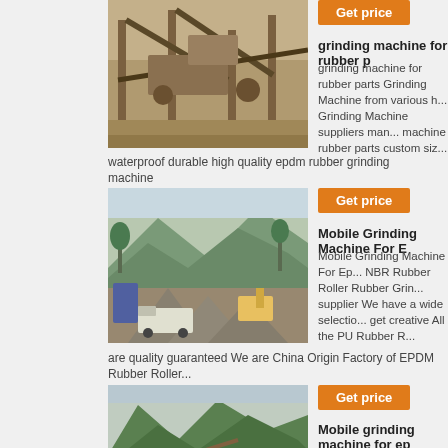[Figure (photo): Industrial grinding/crushing machine facility with conveyor belts and steel structure]
Get price
grinding machine for rubber pa...
grinding machine for rubber parts Grinding Machine from various h... Grinding Machine suppliers man... machine rubber parts custom siz...
waterproof durable high quality epdm rubber grinding machine
[Figure (photo): Outdoor quarry/mining site with trucks, excavators and piles of aggregate material]
Get price
Mobile Grinding Machine For E...
Mobile Grinding Machine For Ep... NBR Rubber Roller Rubber Grin... supplier We have a wide selectio... get creative All the PU Rubber R...
are quality guaranteed We are China Origin Factory of EPDM Rubber Roller...
[Figure (photo): Mountain quarry site with crushing/grinding equipment and green forested hills in background]
Get price
Mobile grinding machine for ep...
Mobile grinding machine for epd... grinding machine for epdm rubbe... CJ Series Jaw Crusher HD Jaw C... Crushers CS Cone Crusher GYS...